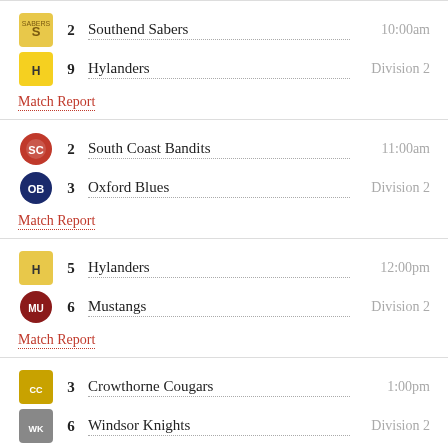2 Southend Sabers  10:00am
9 Hylanders  Division 2
Match Report
2 South Coast Bandits  11:00am
3 Oxford Blues  Division 2
Match Report
5 Hylanders  12:00pm
6 Mustangs  Division 2
Match Report
3 Crowthorne Cougars  1:00pm
6 Windsor Knights  Division 2
Match Report